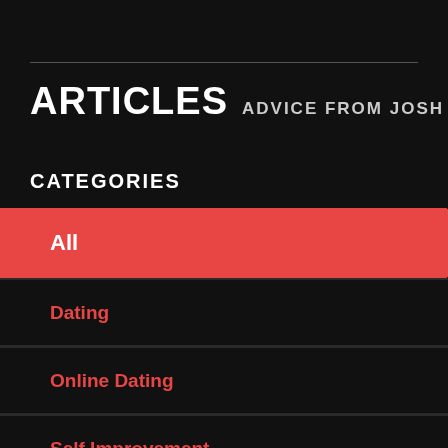ARTICLES ADVICE FROM JOSH
CATEGORIES
All
Dating
Online Dating
Self Improvement
Fashion